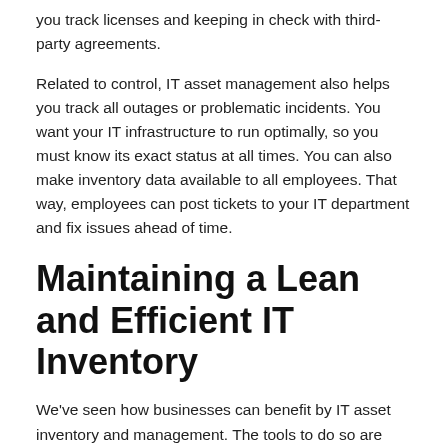you track licenses and keeping in check with third-party agreements.
Related to control, IT asset management also helps you track all outages or problematic incidents. You want your IT infrastructure to run optimally, so you must know its exact status at all times. You can also make inventory data available to all employees. That way, employees can post tickets to your IT department and fix issues ahead of time.
Maintaining a Lean and Efficient IT Inventory
We've seen how businesses can benefit by IT asset inventory and management. The tools to do so are easy to implement and the returns are significant. With more accountability, control and profitability, your business can thrive.
If you are looking to sell, trade or consign hardware, check out NotEquity, one of the leading buyers of used IT and